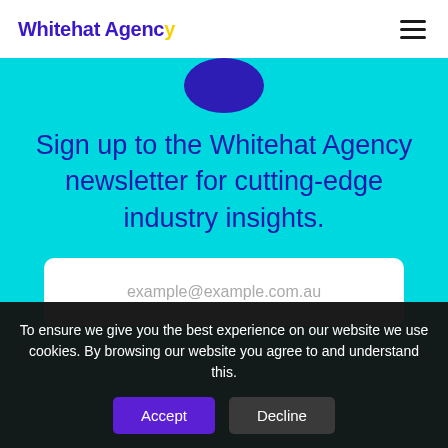Whitehat Agency
Sign up to the Whitehat Agency newsletter for cutting-edge industry insights.
example@example.com.au
To ensure we give you the best experience on our website we use cookies. By browsing our website you agree to and understand this.
Accept | Decline